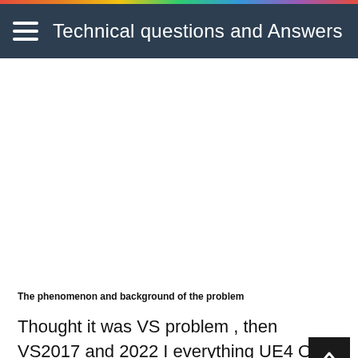Technical questions and Answers
[Figure (other): Advertisement or blank content area]
The phenomenon and background of the problem
Thought it was VS problem , then VS2017 and 2022 I everything UE4 Of 4.27.1 edition
Problem related code. Do not paste screenshots